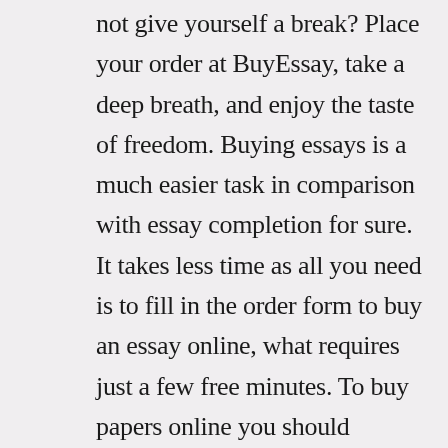not give yourself a break? Place your order at BuyEssay, take a deep breath, and enjoy the taste of freedom. Buying essays is a much easier task in comparison with essay completion for sure. It takes less time as all you need is to fill in the order form to buy an essay online, what requires just a few free minutes. To buy papers online you should provide us with all the detailed instructions so that we could complete your essay online properly. There are a few ways to provide us with all of the instructions if you buy custom essays online https://ignitechristiancentre